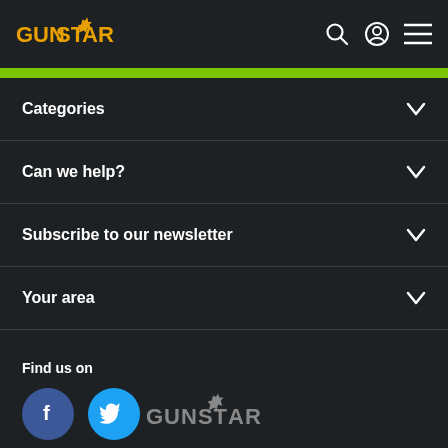GUNSTAR
Categories
Can we help?
Subscribe to our newsletter
Your area
Find us on
[Figure (logo): Facebook and Twitter social media icon buttons]
[Figure (logo): GUNSTAR footer logo in grey]